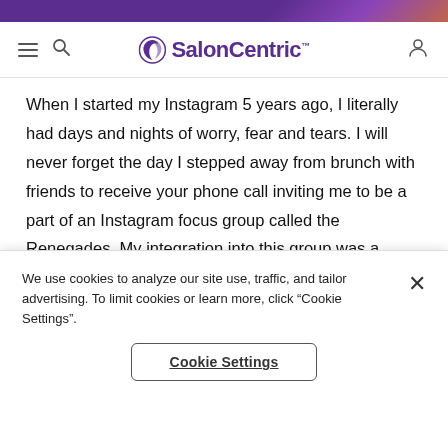[Figure (screenshot): SalonCentric website header with purple top bar, hamburger menu, search icon, SalonCentric logo with swirl icon, and user/account icon]
When I started my Instagram 5 years ago, I literally had days and nights of worry, fear and tears. I will never forget the day I stepped away from brunch with friends to receive your phone call inviting me to be a part of an Instagram focus group called the Renegades. My integration into this group was a newfound support system and sisterhood that I will be forever grateful for. Waking up to a ‘good morning,’ or compliments on the
We use cookies to analyze our site use, traffic, and tailor advertising. To limit cookies or learn more, click "Cookie Settings".
Cookie Settings